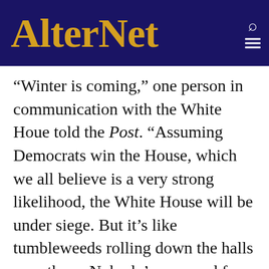AlterNet
“Winter is coming,” one person in communication with the White Houe told the Post. “Assuming Democrats win the House, which we all believe is a very strong likelihood, the White House will be under siege. But it’s like tumbleweeds rolling down the halls over there. Nobody’s prepared for war.”
Trump has reportedly wondered why he doesn't have strong lawyers like those who are representing his associates. Meanwhile, the White House counsel's office has been nearly